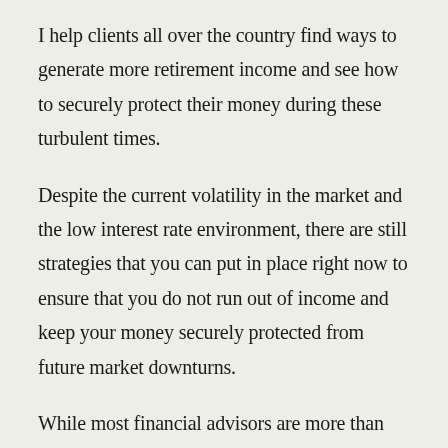I help clients all over the country find ways to generate more retirement income and see how to securely protect their money during these turbulent times.
Despite the current volatility in the market and the low interest rate environment, there are still strategies that you can put in place right now to ensure that you do not run out of income and keep your money securely protected from future market downturns.
While most financial advisors are more than happy to provide you with investment tips